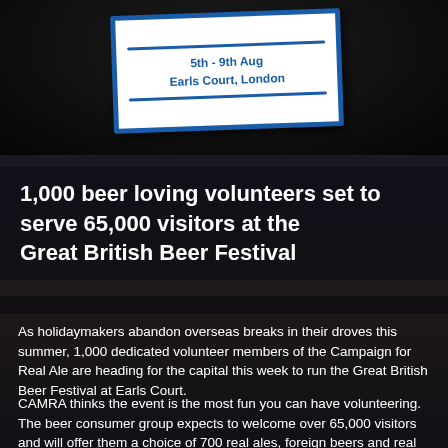[Figure (photo): Top image area showing a ticket/sign for an event at Earls Court, London, 5th - 9th Aug, on a dark background]
1,000 beer loving volunteers set to serve 65,000 visitors at the Great British Beer Festival
As holidaymakers abandon overseas breaks in their droves this summer, 1,000 dedicated volunteer members of the Campaign for Real Ale are heading for the capital this week to run the Great British Beer Festival at Earls Court.
CAMRA thinks the event is the most fun you can have volunteering. The beer consumer group expects to welcome over 65,000 visitors and will offer them a choice of 700 real ales, foreign beers and real ciders & perries. It is gearing up for a record attendance, as the weak pound attracts overseas visitors keen to try a good pint of British real ale.